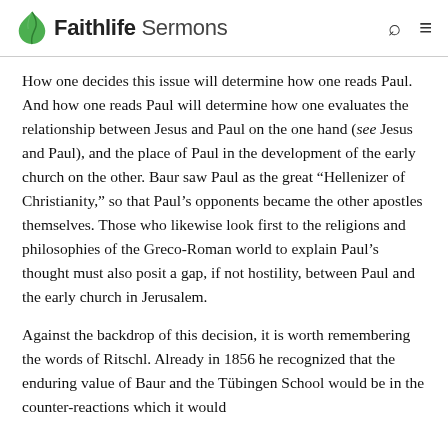Faithlife Sermons
How one decides this issue will determine how one reads Paul. And how one reads Paul will determine how one evaluates the relationship between Jesus and Paul on the one hand (see Jesus and Paul), and the place of Paul in the development of the early church on the other. Baur saw Paul as the great “Hellenizer of Christianity,” so that Paul’s opponents became the other apostles themselves. Those who likewise look first to the religions and philosophies of the Greco-Roman world to explain Paul’s thought must also posit a gap, if not hostility, between Paul and the early church in Jerusalem.
Against the backdrop of this decision, it is worth remembering the words of Ritschl. Already in 1856 he recognized that the enduring value of Baur and the Tübingen School would be in the counter-reactions which it would